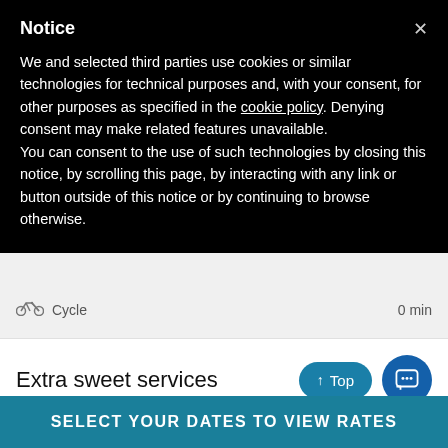Notice
We and selected third parties use cookies or similar technologies for technical purposes and, with your consent, for other purposes as specified in the cookie policy. Denying consent may make related features unavailable.
You can consent to the use of such technologies by closing this notice, by scrolling this page, by interacting with any link or button outside of this notice or by continuing to browse otherwise.
Cycle   0 min
Extra sweet services
SELECT YOUR DATES TO VIEW RATES